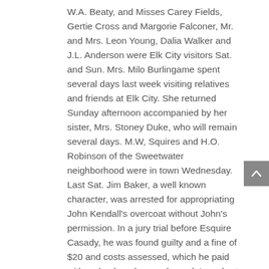W.A. Beaty, and Misses Carey Fields, Gertie Cross and Margorie Falconer, Mr. and Mrs. Leon Young, Dalia Walker and J.L. Anderson were Elk City visitors Sat. and Sun. Mrs. Milo Burlingame spent several days last week visiting relatives and friends at Elk City. She returned Sunday afternoon accompanied by her sister, Mrs. Stoney Duke, who will remain several days. M.W. Squires and H.O. Robinson of the Sweetwater neighborhood were in town Wednesday. Last Sat. Jim Baker, a well known character, was arrested for appropriating John Kendall's overcoat without John's permission. In a jury trial before Esquire Casady, he was found guilty and a fine of $20 and costs assessed, which he paid with a check and was released. In a short time, it was ascertained that the check was not good but Jim had already shook off the dust of Cheyenne streets from his brogans and started for pastures green and new. He was apprehended at Sayre and upon his return to Cheyenne, in failure to make good on the check, he now languishes in jail.